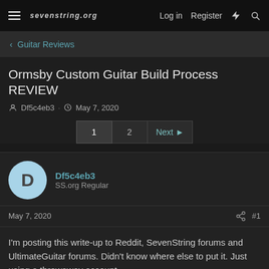sevenstring.org  Log in  Register
< Guitar Reviews
Ormsby Custom Guitar Build Process REVIEW
Df5c4eb3 · May 7, 2020
1  2  Next ▶
Df5c4eb3
SS.org Regular
May 7, 2020   #1
I'm posting this write-up to Reddit, SevenString forums and UltimateGuitar forums. Didn't know where else to put it. Just using a throwaway account.